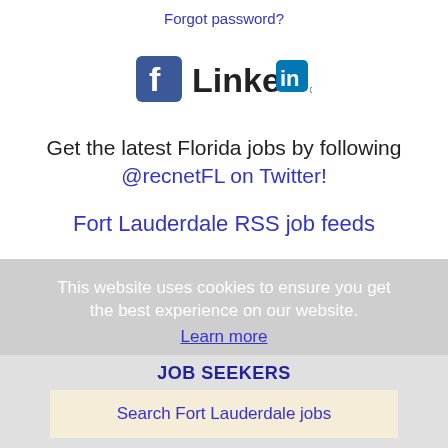Forgot password?
[Figure (logo): Facebook and LinkedIn social media logos side by side]
Get the latest Florida jobs by following @recnetFL on Twitter!
Fort Lauderdale RSS job feeds
This website uses cookies to ensure you get the best experience on our website.
Learn more
JOB SEEKERS
Search Fort Lauderdale jobs
Post your resume
Email job alerts